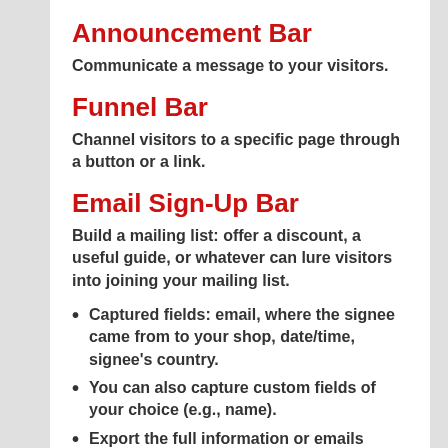Announcement Bar
Communicate a message to your visitors.
Funnel Bar
Channel visitors to a specific page through a button or a link.
Email Sign-Up Bar
Build a mailing list: offer a discount, a useful guide, or whatever can lure visitors into joining your mailing list.
Captured fields: email, where the signee came from to your shop, date/time, signee's country.
You can also capture custom fields of your choice (e.g., name).
Export the full information or emails